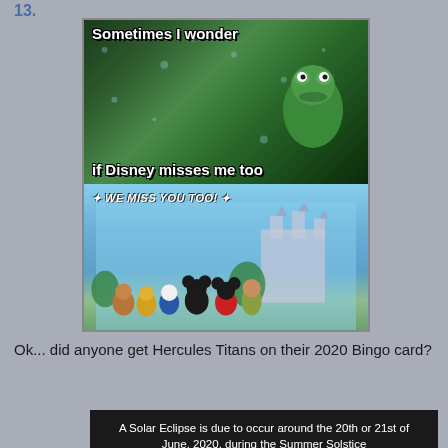13.
[Figure (photo): A two-panel meme. Top panel shows Kermit the Frog looking through a rainy window with text 'Sometimes I wonder if Disney misses me too'. Bottom panel shows Disney characters (Mickey, Minnie, Goofy, Pluto, Chip, Dale, Donald) in front of Cinderella's castle with text 'WE MISS YOU TOO!']
Ok... did anyone get Hercules Titans on their 2020 Bingo card?
A Solar Eclipse is due to occur around the 20th or 21st of June, 2020, during the Summer Solstice